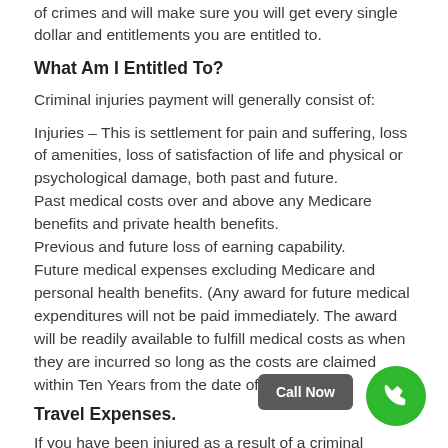of crimes and will make sure you will get every single dollar and entitlements you are entitled to.
What Am I Entitled To?
Criminal injuries payment will generally consist of:
Injuries – This is settlement for pain and suffering, loss of amenities, loss of satisfaction of life and physical or psychological damage, both past and future.
Past medical costs over and above any Medicare benefits and private health benefits.
Previous and future loss of earning capability.
Future medical expenses excluding Medicare and personal health benefits. (Any award for future medical expenditures will not be paid immediately. The award will be readily available to fulfill medical costs as when they are incurred so long as the costs are claimed within Ten Years from the date of the award.).
Travel Expenses.
If you have been injured as a result of a criminal offense